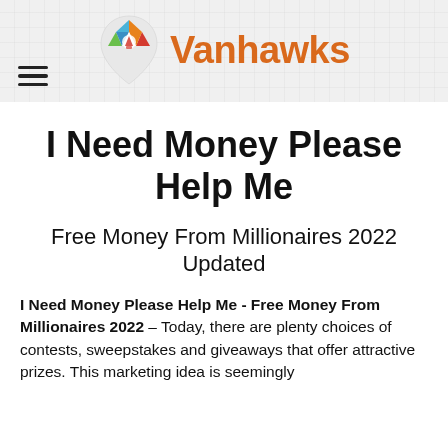[Figure (logo): Vanhawks logo: colorful map pin icon with geometric triangular pattern in orange, blue, green, red, and white, followed by the brand name 'Vanhawks' in bold orange text]
I Need Money Please Help Me
Free Money From Millionaires 2022 Updated
I Need Money Please Help Me - Free Money From Millionaires 2022 – Today, there are plenty choices of contests, sweepstakes and giveaways that offer attractive prizes. This marketing idea is seemingly